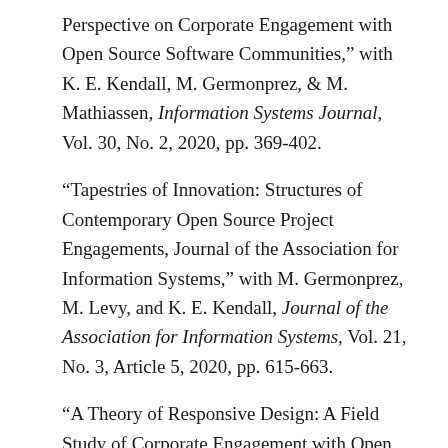Perspective on Corporate Engagement with Open Source Software Communities,” with K. E. Kendall, M. Germonprez, & M. Mathiassen, Information Systems Journal, Vol. 30, No. 2, 2020, pp. 369-402.
“Tapestries of Innovation: Structures of Contemporary Open Source Project Engagements, Journal of the Association for Information Systems,” with M. Germonprez, M. Levy, and K. E. Kendall, Journal of the Association for Information Systems, Vol. 21, No. 3, Article 5, 2020, pp. 615-663.
“A Theory of Responsive Design: A Field Study of Corporate Engagement with Open Source